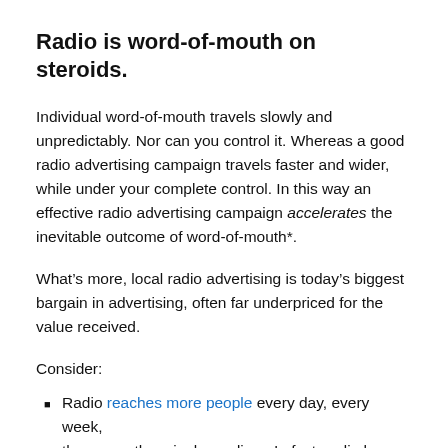Radio is word-of-mouth on steroids.
Individual word-of-mouth travels slowly and unpredictably. Nor can you control it. Whereas a good radio advertising campaign travels faster and wider, while under your complete control. In this way an effective radio advertising campaign accelerates the inevitable outcome of word-of-mouth*.
What’s more, local radio advertising is today’s biggest bargain in advertising, often far underpriced for the value received.
Consider:
Radio reaches more people every day, every week,
than any other single medium. In fact, radio has kept